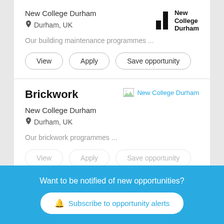New College Durham
Durham, UK
Our building maintenance programmes ...
View | Apply | Save opportunity
Brickwork
[Figure (logo): New College Durham logo placeholder image with text 'New College Durham']
New College Durham
Durham, UK
Our brickwork programmes ...
Want to be notified of new opportunities?
Subscribe to opportunity alerts